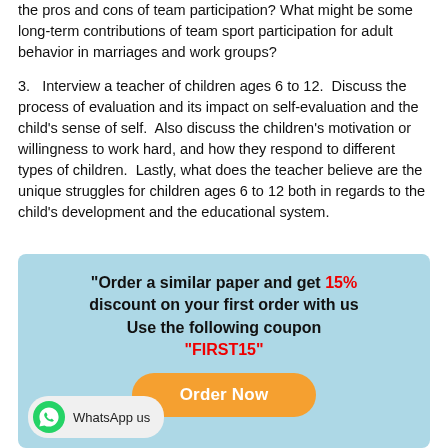the pros and cons of team participation?  What might be some long-term contributions of team sport participation for adult behavior in marriages and work groups?
3.   Interview a teacher of children ages 6 to 12.  Discuss the process of evaluation and its impact on self-evaluation and the child's sense of self.  Also discuss the children's motivation or willingness to work hard, and how they respond to different types of children.  Lastly, what does the teacher believe are the unique struggles for children ages 6 to 12 both in regards to the child's development and the educational system.
[Figure (infographic): Advertisement box with light blue background. Text: "Order a similar paper and get 15% discount on your first order with us Use the following coupon "FIRST15"" with an orange Order Now button and a WhatsApp us badge at the bottom left.]